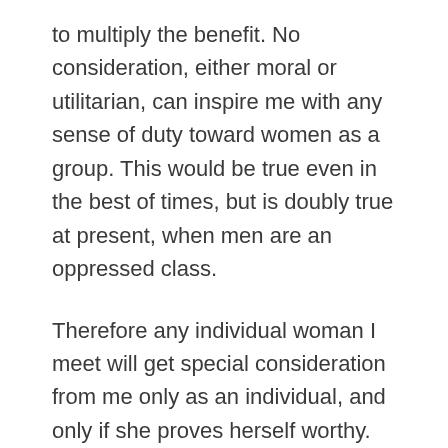to multiply the benefit. No consideration, either moral or utilitarian, can inspire me with any sense of duty toward women as a group. This would be true even in the best of times, but is doubly true at present, when men are an oppressed class.
Therefore any individual woman I meet will get special consideration from me only as an individual, and only if she proves herself worthy. And clearly, some will prove themselves worthier than others. This way of thinking entails no “misogyny” because it entails no opinion, either good or ill, about